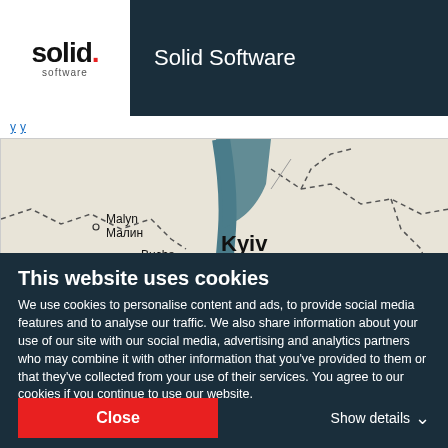Solid Software
[Figure (map): Google Maps view centered on Kyiv (Київ), Ukraine, showing surrounding cities including Malyn/Малин, Bucha/Буча, Brovary/Бровари, Fastiv, and Pereiaslav. A red dot marks Kyiv's location. The map shows a river (Dnipro) running through the city. Dashed lines indicate region borders.]
This website uses cookies
We use cookies to personalise content and ads, to provide social media features and to analyse our traffic. We also share information about your use of our site with our social media, advertising and analytics partners who may combine it with other information that you've provided to them or that they've collected from your use of their services. You agree to our cookies if you continue to use our website.
Close
Show details